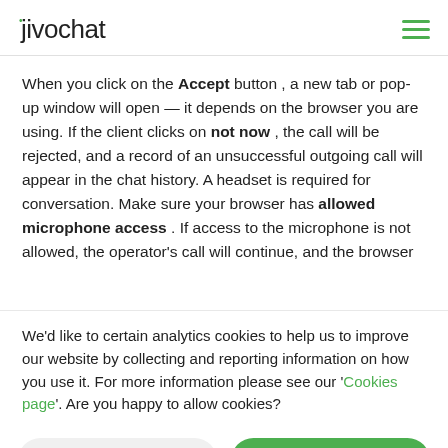jivochat
When you click on the Accept button , a new tab or pop-up window will open — it depends on the browser you are using. If the client clicks on not now , the call will be rejected, and a record of an unsuccessful outgoing call will appear in the chat history. A headset is required for conversation. Make sure your browser has allowed microphone access . If access to the microphone is not allowed, the operator's call will continue, and the browser will...
We'd like to certain analytics cookies to help us to improve our website by collecting and reporting information on how you use it. For more information please see our 'Cookies page'. Are you happy to allow cookies?
I refuse cookies
I accept cookies